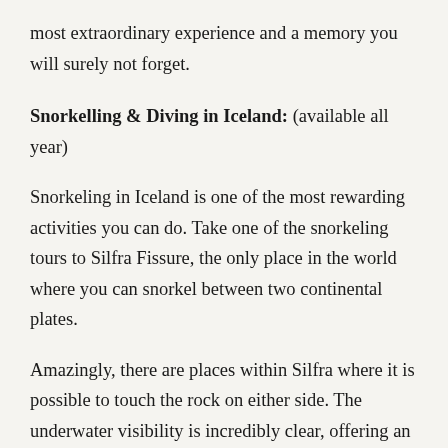most extraordinary experience and a memory you will surely not forget.
Snorkelling & Diving in Iceland: (available all year)
Snorkeling in Iceland is one of the most rewarding activities you can do. Take one of the snorkeling tours to Silfra Fissure, the only place in the world where you can snorkel between two continental plates.
Amazingly, there are places within Silfra where it is possible to touch the rock on either side. The underwater visibility is incredibly clear, offering an experience which it is very hard to match. It is